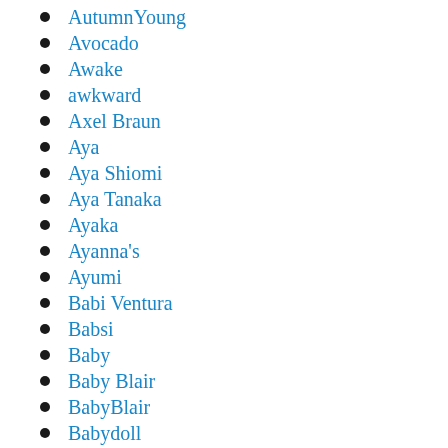AutumnYoung
Avocado
Awake
awkward
Axel Braun
Aya
Aya Shiomi
Aya Tanaka
Ayaka
Ayanna's
Ayumi
Babi Ventura
Babsi
Baby
Baby Blair
BabyBlair
Babydoll